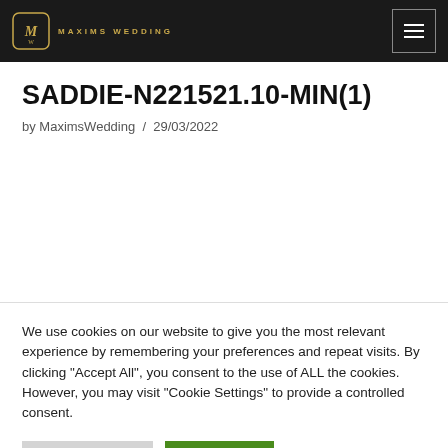MAXIMS WEDDING
SADDIE-N221521.10-MIN(1)
by MaximsWedding / 29/03/2022
We use cookies on our website to give you the most relevant experience by remembering your preferences and repeat visits. By clicking "Accept All", you consent to the use of ALL the cookies. However, you may visit "Cookie Settings" to provide a controlled consent.